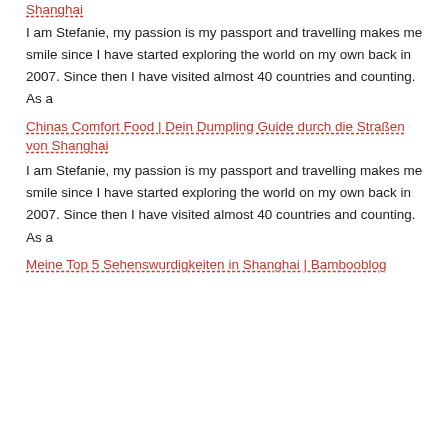Shanghai
I am Stefanie, my passion is my passport and travelling makes me smile since I have started exploring the world on my own back in 2007. Since then I have visited almost 40 countries and counting. As a
Chinas Comfort Food | Dein Dumpling Guide durch die Straßen von Shanghai
I am Stefanie, my passion is my passport and travelling makes me smile since I have started exploring the world on my own back in 2007. Since then I have visited almost 40 countries and counting. As a
Meine Top 5 Sehenswurdigkeiten in Shanghai | Bambooblog